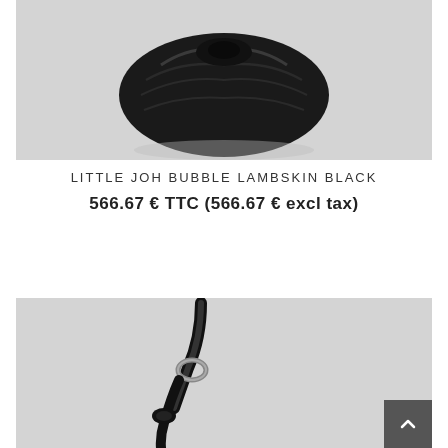[Figure (photo): Black lambskin handbag (top portion), shown against light grey background — ruched/bubble texture, folded top closure]
LITTLE JOH BUBBLE LAMBSKIN BLACK
566.67 € TTC (566.67 € excl tax)
[Figure (photo): Black handbag handle and hardware detail, shown against light grey background — bottom portion of bag visible]